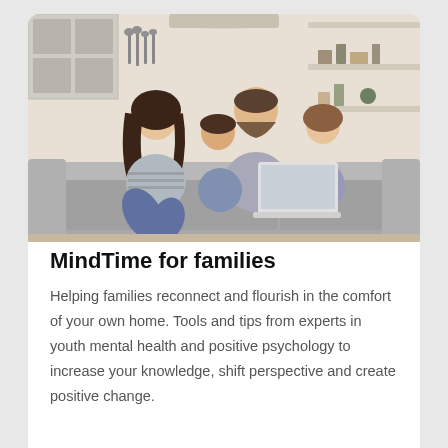[Figure (photo): A family of four — mother, father, son, and daughter — sitting together on a grey sofa in a modern kitchen setting, looking at a laptop computer and smiling.]
MindTime for families
Helping families reconnect and flourish in the comfort of your own home. Tools and tips from experts in youth mental health and positive psychology to increase your knowledge, shift perspective and create positive change.